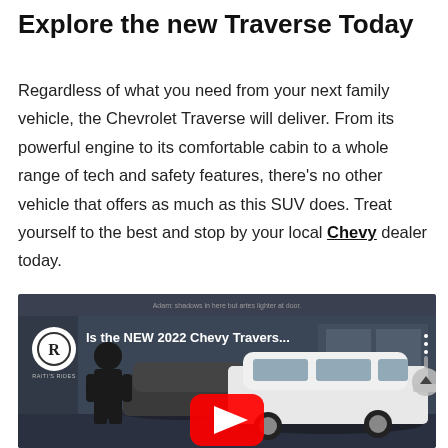Explore the new Traverse Today
Regardless of what you need from your next family vehicle, the Chevrolet Traverse will deliver. From its powerful engine to its comfortable cabin to a whole range of tech and safety features, there’s no other vehicle that offers as much as this SUV does. Treat yourself to the best and stop by your local Chevy dealer today.
[Figure (screenshot): YouTube video thumbnail showing a white Chevrolet Traverse SUV at an auto show with a presenter standing in front, channel logo 'Raiti's Rides' in the top left, video title 'Is the NEW 2022 Chevy Travers...' and a red YouTube play button overlay]